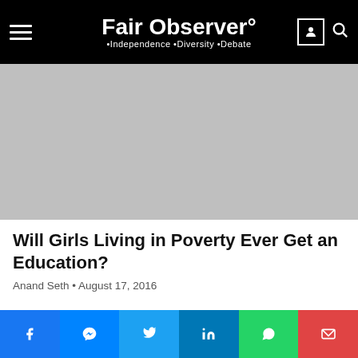Fair Observer° • Independence • Diversity • Debate
[Figure (photo): Large gray placeholder hero image for article about girls education and poverty]
Will Girls Living in Poverty Ever Get an Education?
Anand Seth • August 17, 2016